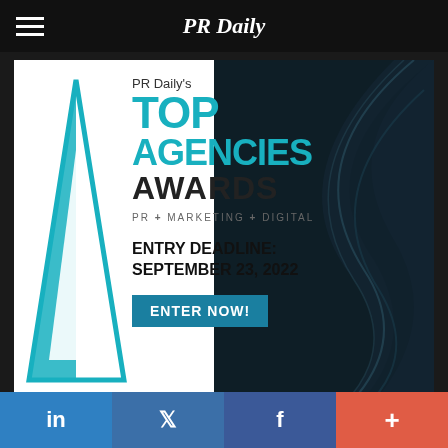PR Daily
[Figure (infographic): PR Daily's Top Agencies Awards ad banner. Features a teal triangle logo, text: PR Daily's TOP AGENCIES AWARDS, PR + MARKETING + DIGITAL, ENTRY DEADLINE: SEPTEMBER 23, 2022, ENTER NOW! button, with dark swirling background on right.]
[Figure (infographic): Content marketing ad banner with blue wave design and a gold/red circular content marketing logo on the right.]
Build a Business Use